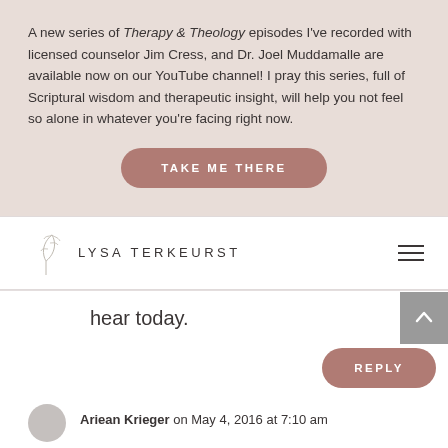A new series of Therapy & Theology episodes I've recorded with licensed counselor Jim Cress, and Dr. Joel Muddamalle are available now on our YouTube channel! I pray this series, full of Scriptural wisdom and therapeutic insight, will help you not feel so alone in whatever you're facing right now.
TAKE ME THERE
[Figure (logo): Lysa TerKeurst logo with decorative leaf/botanical illustration]
hear today.
REPLY
Ariean Krieger on May 4, 2016 at 7:10 am